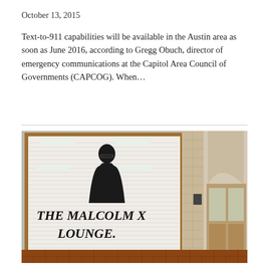October 13, 2015
Text-to-911 capabilities will be available in the Austin area as soon as June 2016, according to Gregg Obuch, director of emergency communications at the Capitol Area Council of Governments (CAPCOG). When…
[Figure (photo): Photograph of the Malcolm X Lounge entrance. A large window/shutter displays a black-and-white portrait of Malcolm X along with large hand-lettered text reading 'THE MALCOLM X LOUNGE.' The entrance is framed with wood trim, and brick walls and a doorway are visible to the right. The floor shows a brick/tile pattern.]